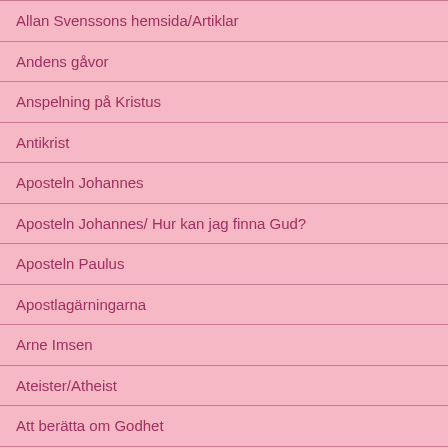Allan Svenssons hemsida/Artiklar
Andens gåvor
Anspelning på Kristus
Antikrist
Aposteln Johannes
Aposteln Johannes/ Hur kan jag finna Gud?
Aposteln Paulus
Apostlagärningarna
Arne Imsen
Ateister/Atheist
Att berätta om Godhet
Att berätta om Jona
Att berätta om NOA /Varför regnbågen?
Att berätta om Nya Testamentet
Att berätta om Petrus